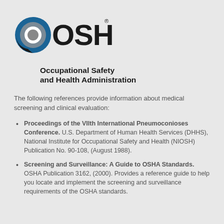[Figure (logo): OSHA logo with circular blue and gray swirl icon followed by large bold 'OSHA' text with registered trademark symbol, and below it 'Occupational Safety and Health Administration' in bold]
The following references provide information about medical screening and clinical evaluation:
Proceedings of the VIIth International Pneumoconioses Conference. U.S. Department of Human Health Services (DHHS), National Institute for Occupational Safety and Health (NIOSH) Publication No. 90-108, (August 1988).
Screening and Surveillance: A Guide to OSHA Standards. OSHA Publication 3162, (2000). Provides a reference guide to help you locate and implement the screening and surveillance requirements of the OSHA standards.